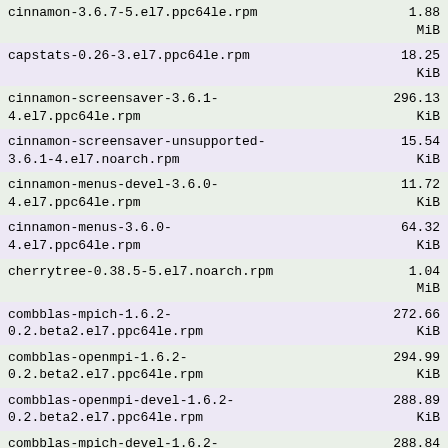| Package | Size |
| --- | --- |
| cinnamon-3.6.7-5.el7.ppc64le.rpm | 1.88 MiB |
| capstats-0.26-3.el7.ppc64le.rpm | 18.25 KiB |
| cinnamon-screensaver-3.6.1-4.el7.ppc64le.rpm | 296.13 KiB |
| cinnamon-screensaver-unsupported-3.6.1-4.el7.noarch.rpm | 15.54 KiB |
| cinnamon-menus-devel-3.6.0-4.el7.ppc64le.rpm | 11.72 KiB |
| cinnamon-menus-3.6.0-4.el7.ppc64le.rpm | 64.32 KiB |
| cherrytree-0.38.5-5.el7.noarch.rpm | 1.04 MiB |
| combblas-mpich-1.6.2-0.2.beta2.el7.ppc64le.rpm | 272.66 KiB |
| combblas-openmpi-1.6.2-0.2.beta2.el7.ppc64le.rpm | 294.99 KiB |
| combblas-openmpi-devel-1.6.2-0.2.beta2.el7.ppc64le.rpm | 288.89 KiB |
| combblas-mpich-devel-1.6.2-0.2.beta2.el7.ppc64le.rpm | 288.84 KiB |
| canl-java-javadoc-2.6.0-1.el7.noarch.rpm | 311.56 KiB |